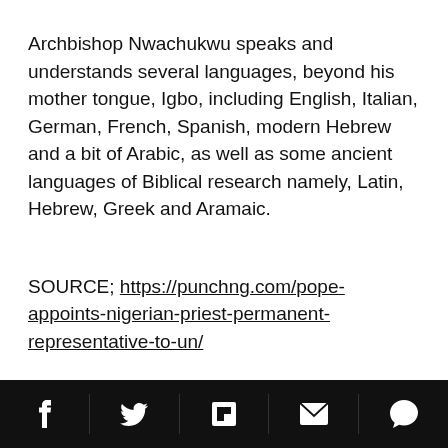Archbishop Nwachukwu speaks and understands several languages, beyond his mother tongue, Igbo, including English, Italian, German, French, Spanish, modern Hebrew and a bit of Arabic, as well as some ancient languages of Biblical research namely, Latin, Hebrew, Greek and Aramaic.
SOURCE; https://punchng.com/pope-appoints-nigerian-priest-permanent-representative-to-un/
In this article: NEWS
[Social share bar: Facebook, Twitter, Flipboard, Email, Comment]